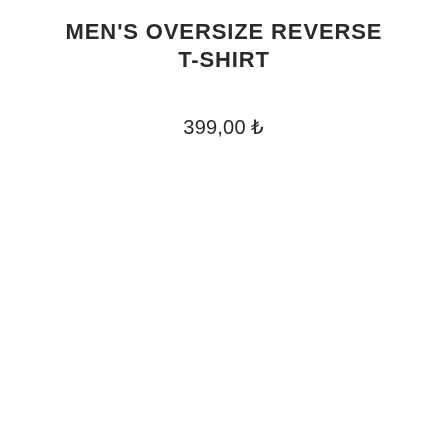MEN'S OVERSIZE REVERSE T-SHIRT
399,00 ₺